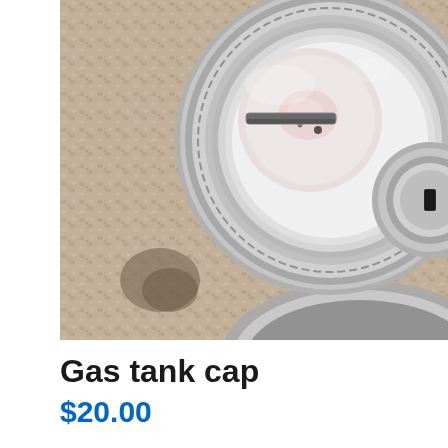[Figure (photo): Close-up photo of a chrome/metal gas tank cap with two circular rings and a keyhole slot, lying on a beige/tan woven carpet or fabric surface.]
Gas tank cap
$20.00